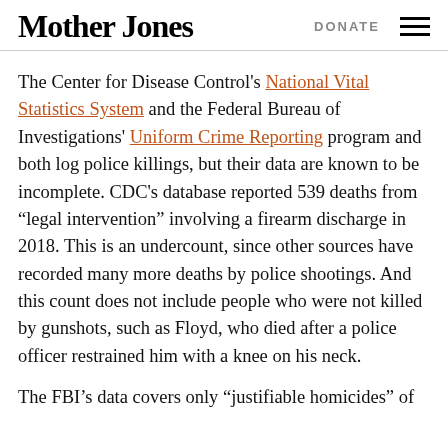Mother Jones | DONATE
The Center for Disease Control's National Vital Statistics System and the Federal Bureau of Investigations' Uniform Crime Reporting program and both log police killings, but their data are known to be incomplete. CDC's database reported 539 deaths from "legal intervention" involving a firearm discharge in 2018. This is an undercount, since other sources have recorded many more deaths by police shootings. And this count does not include people who were not killed by gunshots, such as Floyd, who died after a police officer restrained him with a knee on his neck.
The FBI's data covers only "justifiable homicides" of...